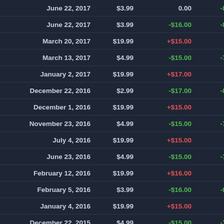| Date | Price | Change | % Change |
| --- | --- | --- | --- |
| June 22, 2017 | $3.99 | 0.00 | -80% |
| June 22, 2017 | $3.99 | -$16.00 | -80% |
| March 20, 2017 | $19.99 | +$15.00 | - |
| March 13, 2017 | $4.99 | -$15.00 | -75% |
| January 2, 2017 | $19.99 | +$17.00 | - |
| December 22, 2016 | $2.99 | -$17.00 | -85% |
| December 1, 2016 | $19.99 | +$15.00 | - |
| November 23, 2016 | $4.99 | -$15.00 | -75% |
| July 4, 2016 | $19.99 | +$15.00 | - |
| June 23, 2016 | $4.99 | -$15.00 | -75% |
| February 12, 2016 | $19.99 | +$16.00 | - |
| February 5, 2016 | $3.99 | -$16.00 | -80% |
| January 4, 2016 | $19.99 | +$15.00 | - |
| December 22, 2015 | $4.99 | -$15.00 | -75% |